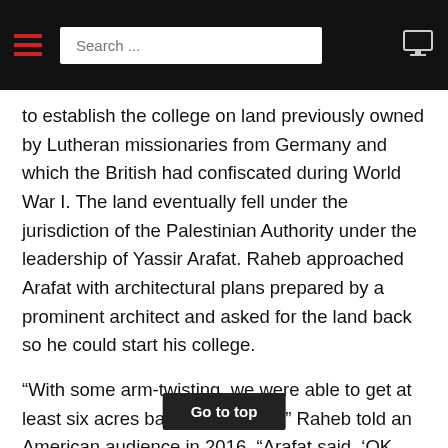Search ...
to establish the college on land previously owned by Lutheran missionaries from Germany and which the British had confiscated during World War I. The land eventually fell under the jurisdiction of the Palestinian Authority under the leadership of Yassir Arafat. Raheb approached Arafat with architectural plans prepared by a prominent architect and asked for the land back so he could start his college.
“With some arm-twisting, we were able to get at least six acres back of that land,” Raheb told an American audience in 2016. “Arafat said, ‘OK, you have to prove that the first building will be up and running because many people want that piece of land.’ It’s really prime land.” Th…e college has five